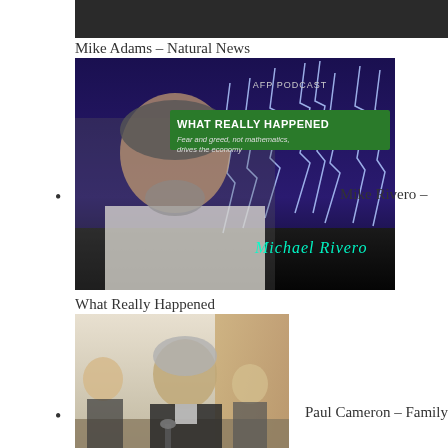[Figure (photo): Partial cropped image bar at top, dark background]
Mike Adams – Natural News
[Figure (photo): AFP Podcast image of Michael Rivero with lightning background and text 'WHAT REALLY HAPPENED – Fear and greed, not mathematics, drives the economy']
Mike Rivero –
What Really Happened
[Figure (photo): Photo of Paul Cameron, an older man, in what appears to be a meeting or hearing room]
Paul Cameron – Family